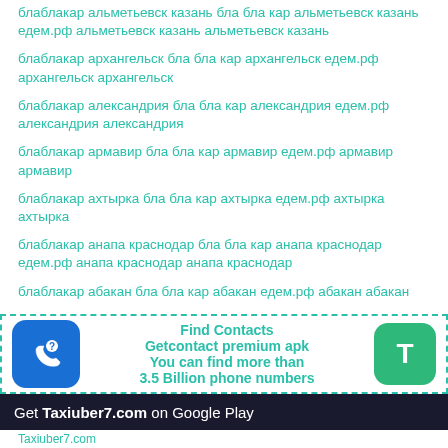блаблакар альметьевск казань бла бла кар альметьевск казань едем.рф альметьевск казань альметьевск казань
блаблакар архангельск бла бла кар архангельск едем.рф архангельск архангельск
блаблакар александрия бла бла кар александрия едем.рф александрия александрия
блаблакар армавир бла бла кар армавир едем.рф армавир армавир
блаблакар ахтырка бла бла кар ахтырка едем.рф ахтырка ахтырка
блаблакар анапа краснодар бла бла кар анапа краснодар едем.рф анапа краснодар анапа краснодар
блаблакар абакан бла бла кар абакан едем.рф абакан абакан
[Figure (infographic): Getcontact app advertisement banner with phone icon, teal text reading 'Find Contacts', 'Getcontact premium apk', 'You can find more than 3.5 Billion phone numbers', and a green T button]
Get Taxiuber7.com on Google Play
Taxiuber7.com